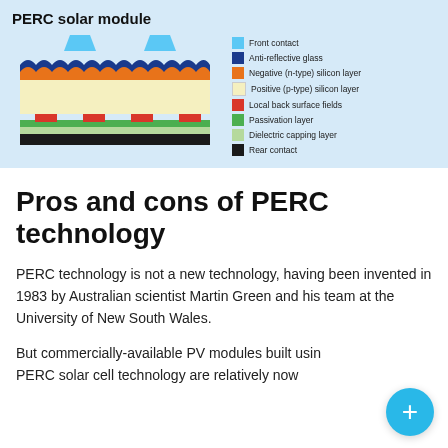[Figure (schematic): Cross-section diagram of a PERC solar module showing layers: front contact (light blue), anti-reflective glass (dark blue), negative n-type silicon layer (orange), positive p-type silicon layer (yellow), local back surface fields (red), passivation layer (green), dielectric capping layer (light green), and rear contact (dark/black). The diagram includes a legend on the right side.]
Pros and cons of PERC technology
PERC technology is not a new technology, having been invented in 1983 by Australian scientist Martin Green and his team at the University of New South Wales.
But commercially-available PV modules built using PERC solar cell technology are relatively now